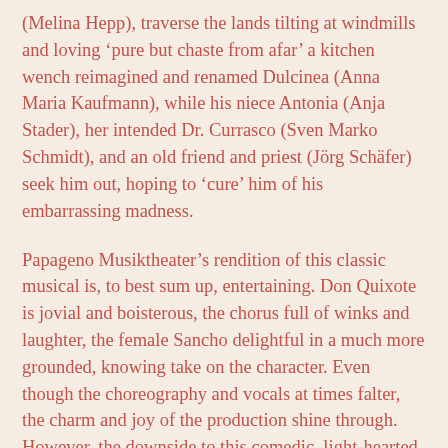(Melina Hepp), traverse the lands tilting at windmills and loving 'pure but chaste from afar' a kitchen wench reimagined and renamed Dulcinea (Anna Maria Kaufmann), while his niece Antonia (Anja Stader), her intended Dr. Currasco (Sven Marko Schmidt), and an old friend and priest (Jörg Schäfer) seek him out, hoping to 'cure' him of his embarrassing madness.
Papageno Musiktheater's rendition of this classic musical is, to best sum up, entertaining. Don Quixote is jovial and boisterous, the chorus full of winks and laughter, the female Sancho delightful in a much more grounded, knowing take on the character. Even though the choreography and vocals at times falter, the charm and joy of the production shine through. However, the downside to this comedic, light-hearted take is that the moments of depth, of tragedy and yearning do not hold the same weight as they are given no foundation. Quixote is given no sign of age or wear until his ending, hyperbolic death. Aldonza no sense of helpless rage against